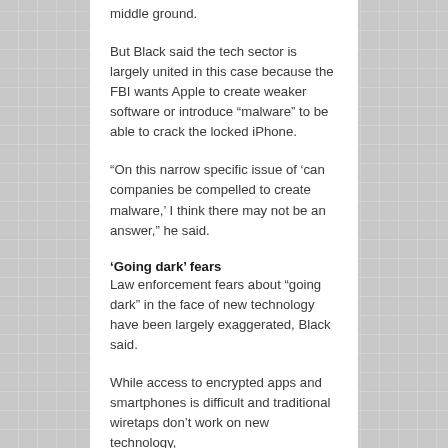middle ground.
But Black said the tech sector is largely united in this case because the FBI wants Apple to create weaker software or introduce “malware” to be able to crack the locked iPhone.
“On this narrow specific issue of ‘can companies be compelled to create malware,’ I think there may not be an answer,” he said.
‘Going dark’ fears
Law enforcement fears about “going dark” in the face of new technology have been largely exaggerated, Black said.
While access to encrypted apps and smartphones is difficult and traditional wiretaps don’t work on new technology,